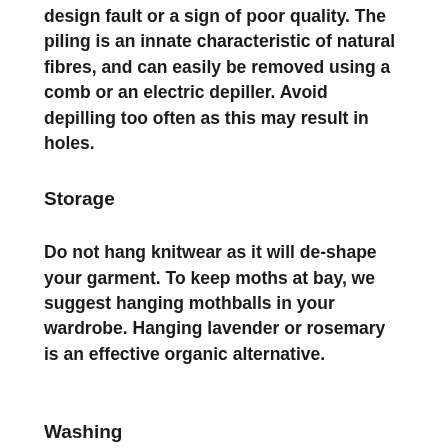design fault or a sign of poor quality. The piling is an innate characteristic of natural fibres, and can easily be removed using a comb or an electric depiller. Avoid depilling too often as this may result in holes.
Storage
Do not hang knitwear as it will de-shape your garment. To keep moths at bay, we suggest hanging mothballs in your wardrobe. Hanging lavender or rosemary is an effective organic alternative.
Washing
Natural fibres like cashmere, lambswool and